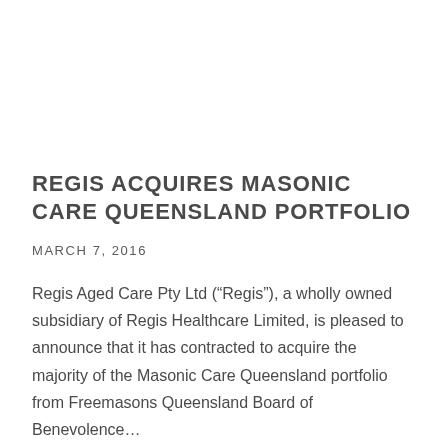REGIS ACQUIRES MASONIC CARE QUEENSLAND PORTFOLIO
MARCH 7, 2016
Regis Aged Care Pty Ltd (“Regis”), a wholly owned subsidiary of Regis Healthcare Limited, is pleased to announce that it has contracted to acquire the majority of the Masonic Care Queensland portfolio from Freemasons Queensland Board of Benevolence…